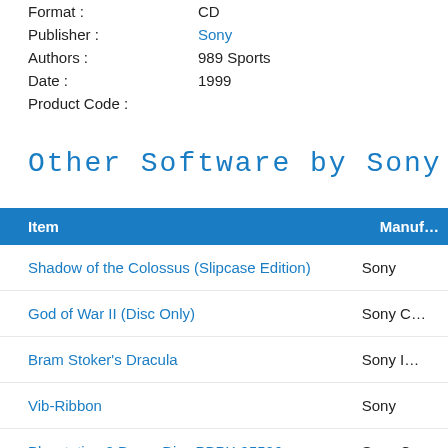Format : CD
Publisher : Sony
Authors : 989 Sports
Date : 1999
Product Code :
Other Software by Sony:
| Item | Manuf… |
| --- | --- |
| Shadow of the Colossus (Slipcase Edition) | Sony |
| God of War II (Disc Only) | Sony C… |
| Bram Stoker's Dracula | Sony I… |
| Vib-Ribbon | Sony |
| Playstation 2 Demo Disc PBPX-95506 | Sony C… |